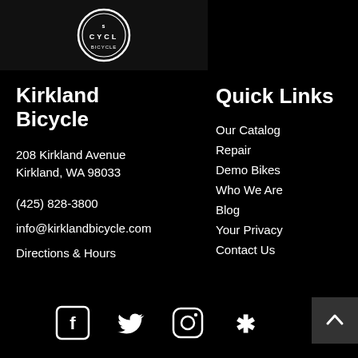[Figure (logo): Kirkland Bicycle circular logo with 'CYCLE' text in white on dark background]
Kirkland Bicycle
208 Kirkland Avenue
Kirkland, WA 98033
(425) 828-3800
info@kirklandbicycle.com
Directions & Hours
Quick Links
Our Catalog
Repair
Demo Bikes
Who We Are
Blog
Your Privacy
Contact Us
[Figure (illustration): Social media icons: Facebook, Twitter, Instagram, Yelp]